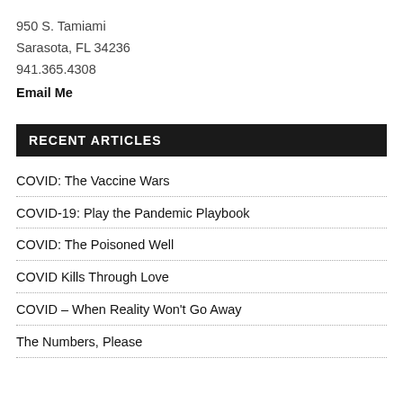950 S. Tamiami
Sarasota, FL 34236
941.365.4308
Email Me
RECENT ARTICLES
COVID: The Vaccine Wars
COVID-19: Play the Pandemic Playbook
COVID: The Poisoned Well
COVID Kills Through Love
COVID – When Reality Won't Go Away
The Numbers, Please